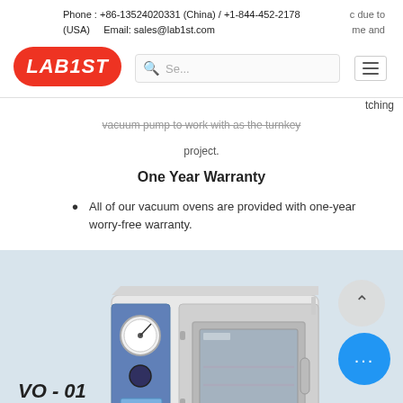Phone : +86-13524020331 (China) / +1-844-452-2178 (USA)    Email: sales@lab1st.com
...c due to ...me and
vacuum pump to work with as the turnkey project.
One Year Warranty
All of our vacuum ovens are provided with one-year worry-free warranty.
[Figure (photo): Lab1st vacuum oven product photo, model VO-01, white rectangular oven with blue control panel on left side, pressure gauge, digital display, and glass window door]
VO - 01